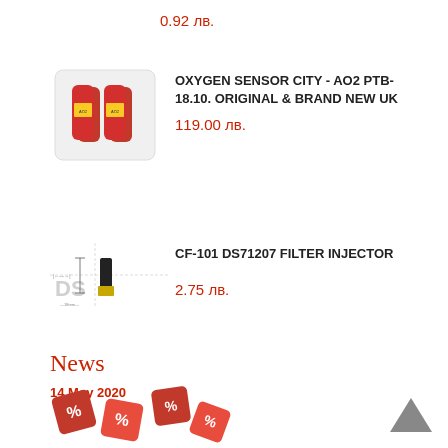0.92 лв.
[Figure (photo): Oxygen sensor product image - small red components in packaging]
OXYGEN SENSOR CITY - AO2 PTB-18.10. ORIGINAL & BRAND NEW UK
119.00 лв.
[Figure (photo): CF-101 DS71207 filter injector product image - small cylindrical component with technical drawing]
CF-101 DS71207 FILTER INJECTOR
2.75 лв.
News
14 May 2020
[Figure (illustration): Red dice with percentage symbols scattered]
[Figure (other): Arrow up navigation button (grey triangle pointing up)]